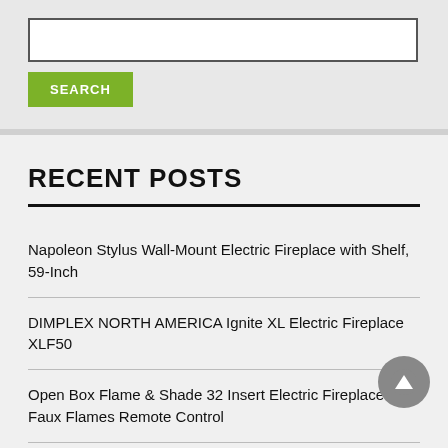[Figure (screenshot): Search input box with text field and green SEARCH button]
RECENT POSTS
Napoleon Stylus Wall-Mount Electric Fireplace with Shelf, 59-Inch
DIMPLEX NORTH AMERICA Ignite XL Electric Fireplace XLF50
Open Box Flame & Shade 32 Insert Electric Fireplace Faux Flames Remote Control
Fireplace Blower Fan Kit 10 And Temp/Speed For Lennox Hearth Glo Majestic Rotom